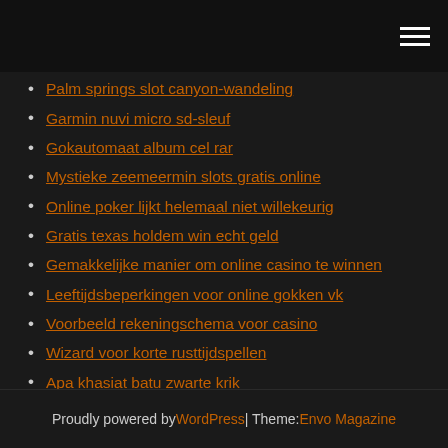Palm springs slot canyon-wandeling
Garmin nuvi micro sd-sleuf
Gokautomaat album cel rar
Mystieke zeemeermin slots gratis online
Online poker lijkt helemaal niet willekeurig
Gratis texas holdem win echt geld
Gemakkelijke manier om online casino te winnen
Leeftijdsbeperkingen voor online gokken vk
Voorbeeld rekeningschema voor casino
Wizard voor korte rusttijdspellen
Apa khasiat batu zwarte krik
Proudly powered by WordPress | Theme: Envo Magazine